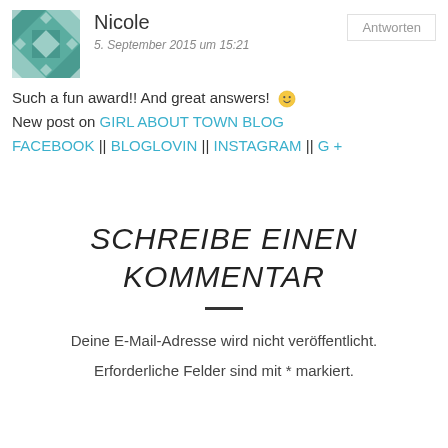[Figure (illustration): Teal and white geometric quilt-pattern avatar icon]
Nicole
5. September 2015 um 15:21
Antworten
Such a fun award!! And great answers! 🙂
New post on GIRL ABOUT TOWN BLOG
FACEBOOK || BLOGLOVIN || INSTAGRAM || G +
SCHREIBE EINEN KOMMENTAR
Deine E-Mail-Adresse wird nicht veröffentlicht.
Erforderliche Felder sind mit * markiert.